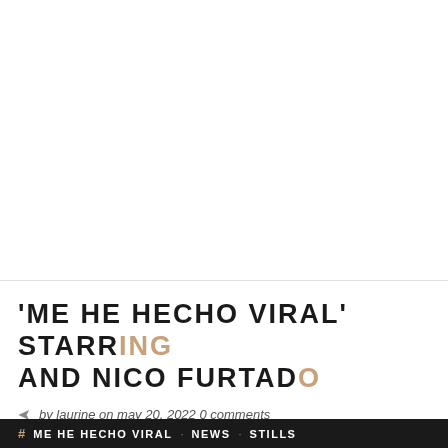[Figure (photo): Large white/blank image area occupying the top portion of the page]
'ME HE HECHO VIRAL' STARRING AND NICO FURTADO
by laurine on may 20, 2022 0 comments
ME HE HECHO VIRAL · NEWS · STILLS